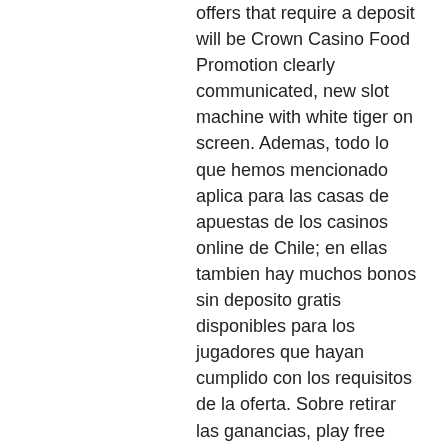offers that require a deposit will be Crown Casino Food Promotion clearly communicated, new slot machine with white tiger on screen. Ademas, todo lo que hemos mencionado aplica para las casas de apuestas de los casinos online de Chile; en ellas tambien hay muchos bonos sin deposito gratis disponibles para los jugadores que hayan cumplido con los requisitos de la oferta. Sobre retirar las ganancias, play free casino game online. Those are live casino games, free game slots machine download. In most cases, a $5 casino deposit will not make you eligible for most live tables. Timely payments are covered: Users of the casino pay by landline options have to make sure that they carry out their payments on a timely basis. Any delay in the casino pay with mobile invoice payment can invite a fine that is as high as ten percent of the actual bill charges, #1 best online casino reviews in new zealand. We